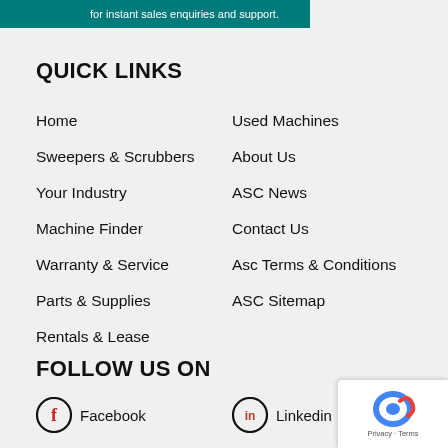[Figure (screenshot): Teal and red banner strip at top with text 'for instant sales enquiries and support']
QUICK LINKS
Home
Sweepers & Scrubbers
Your Industry
Machine Finder
Warranty & Service
Parts & Supplies
Rentals & Lease
Used Machines
About Us
ASC News
Contact Us
Asc Terms & Conditions
ASC Sitemap
FOLLOW US ON
Facebook
Linkedin